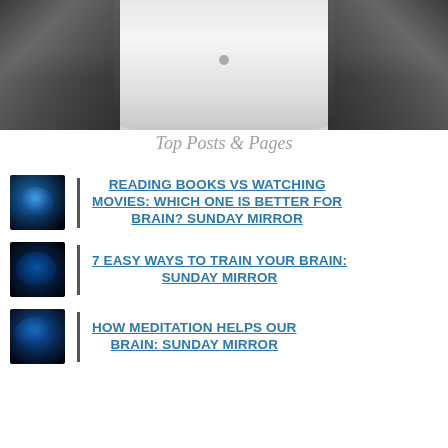[Figure (photo): Black and white photo of a person in a white shirt, cropped to show torso with hands on hips. Dark decorative elements on sides.]
Top Posts & Pages
READING BOOKS VS WATCHING MOVIES: WHICH ONE IS BETTER FOR BRAIN? SUNDAY MIRROR
7 EASY WAYS TO TRAIN YOUR BRAIN: SUNDAY MIRROR
HOW MEDITATION HELPS OUR BRAIN: SUNDAY MIRROR